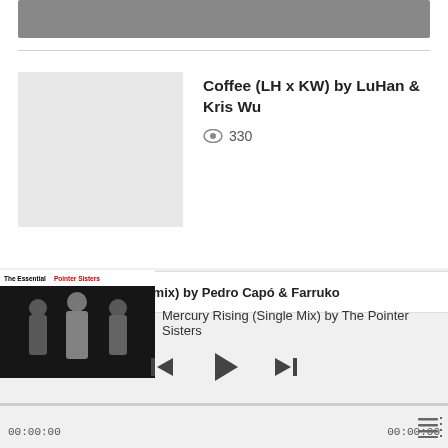[Figure (screenshot): Grey banner / thumbnail bar at the top of the music app screen]
Coffee (LH x KW) by LuHan & Kris Wu
330 views
Calma (Remix) by Pedro Capó & Farruko 03:58
341 views
Calma (Remix) by Pedro Capó & Farruko
Mercury Rising (Single Mix) by The Pointer Sisters
00:00:00
00:00:00